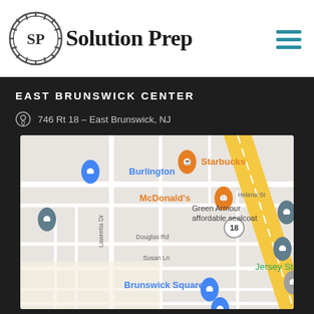[Figure (logo): Solution Prep logo with SP in a circular gear-like emblem followed by text 'Solution Prep']
EAST BRUNSWICK CENTER
746 Rt 18 – East Brunswick, NJ
[Figure (map): Google Maps screenshot showing area around 746 Rt 18, East Brunswick, NJ with landmarks including Burlington, Starbucks, McDonald's, Green Armour affordable sealcoat, Murray Elementary, Jersey Strong Gym, Brunswick Square, and Pete's. Roads shown include Gladstone Dr, Helena St, Douglas Rd, Susan Ln, Windsor Dr, Yates Dr, Cannon Rd, Lawretta Dr. Route 18 runs diagonally as a yellow road.]